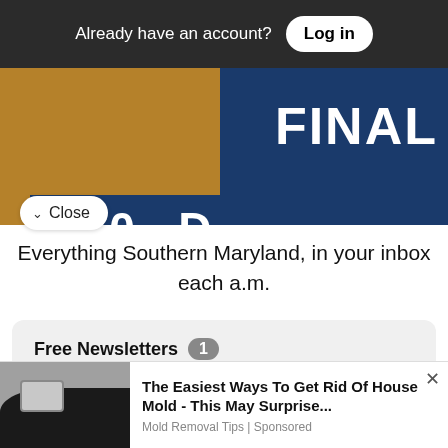Already have an account? Log in
[Figure (photo): Sports scoreboard image showing FINAL text on a dark blue background, with a score display below, and a brown/golden left panel]
✓ Close
Everything Southern Maryland, in your inbox each a.m.
Free Newsletters 1
✓ Daily Digest
[Figure (photo): Advertisement image showing mold on a wall with electrical outlet, promoting mold removal tips]
The Easiest Ways To Get Rid Of House Mold - This May Surprise...
Mold Removal Tips | Sponsored